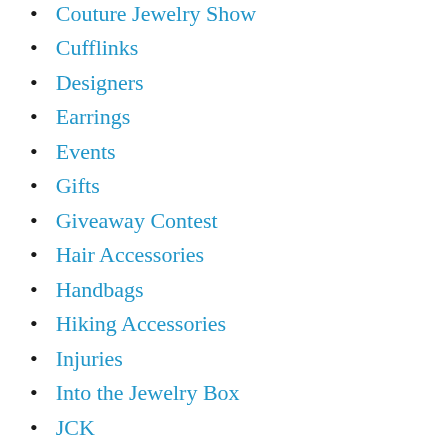Couture Jewelry Show
Cufflinks
Designers
Earrings
Events
Gifts
Giveaway Contest
Hair Accessories
Handbags
Hiking Accessories
Injuries
Into the Jewelry Box
JCK
Jewelry Box Basics
Jewelry Judge
Men's
Metals